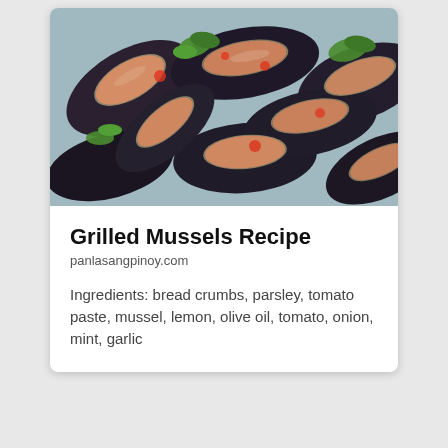[Figure (photo): Close-up photo of grilled mussels on the half shell, topped with tomato paste, bread crumbs, and fresh parsley garnish]
Grilled Mussels Recipe
panlasangpinoy.com
Ingredients: bread crumbs, parsley, tomato paste, mussel, lemon, olive oil, tomato, onion, mint, garlic